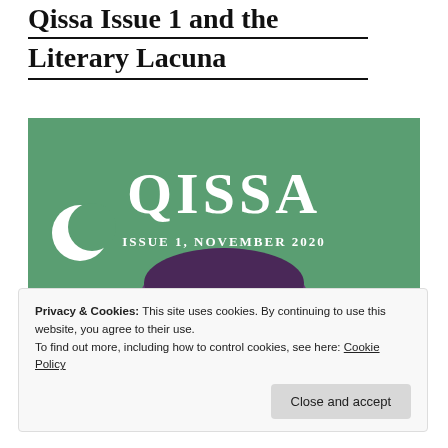Qissa Issue 1 and the Literary Lacuna
[Figure (illustration): Cover of Qissa Issue 1, November 2020. Green background with large white text 'QISSA' and subtitle 'ISSUE 1, NOVEMBER 2020'. A white crescent moon on the left side. An illustrated figure with dark purple/blue skin is visible in the lower portion of the cover.]
Privacy & Cookies: This site uses cookies. By continuing to use this website, you agree to their use.
To find out more, including how to control cookies, see here: Cookie Policy
Close and accept